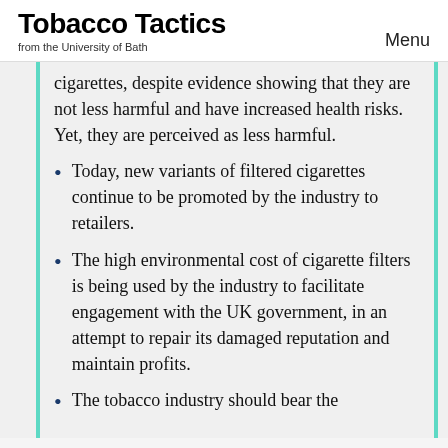Tobacco Tactics from the University of Bath | Menu
cigarettes, despite evidence showing that they are not less harmful and have increased health risks. Yet, they are perceived as less harmful.
Today, new variants of filtered cigarettes continue to be promoted by the industry to retailers.
The high environmental cost of cigarette filters is being used by the industry to facilitate engagement with the UK government, in an attempt to repair its damaged reputation and maintain profits.
The tobacco industry should bear the responsibility for the damage...